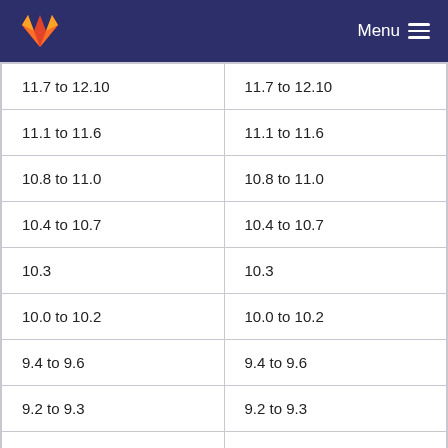GitLab Menu
| 11.7 to 12.10 | 11.7 to 12.10 |
| 11.1 to 11.6 | 11.1 to 11.6 |
| 10.8 to 11.0 | 10.8 to 11.0 |
| 10.4 to 10.7 | 10.4 to 10.7 |
| 10.3 | 10.3 |
| 10.0 to 10.2 | 10.0 to 10.2 |
| 9.4 to 9.6 | 9.4 to 9.6 |
| 9.2 to 9.3 | 9.2 to 9.3 |
| 8.17 to 9.1 | 8.17 to 9.1 |
| 8.13 to 8.16 | 8.13 to 8.16 |